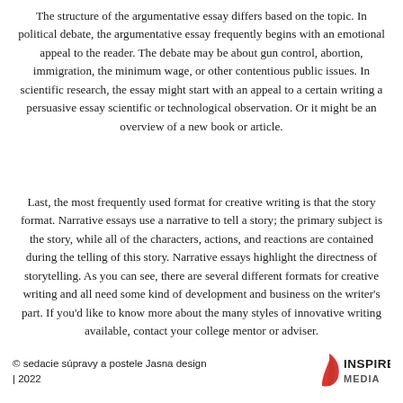The structure of the argumentative essay differs based on the topic. In political debate, the argumentative essay frequently begins with an emotional appeal to the reader. The debate may be about gun control, abortion, immigration, the minimum wage, or other contentious public issues. In scientific research, the essay might start with an appeal to a certain writing a persuasive essay scientific or technological observation. Or it might be an overview of a new book or article.
Last, the most frequently used format for creative writing is that the story format. Narrative essays use a narrative to tell a story; the primary subject is the story, while all of the characters, actions, and reactions are contained during the telling of this story. Narrative essays highlight the directness of storytelling. As you can see, there are several different formats for creative writing and all need some kind of development and business on the writer's part. If you'd like to know more about the many styles of innovative writing available, contact your college mentor or adviser.
© sedacie súpravy a postele Jasna design | 2022